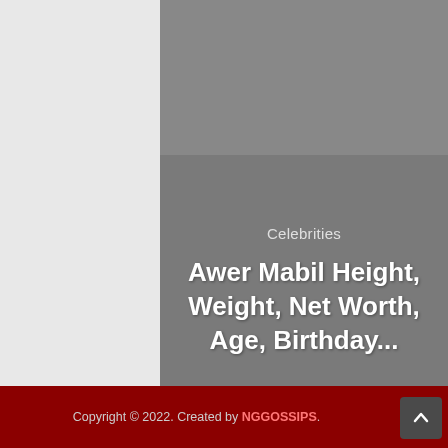[Figure (photo): Gray placeholder image area at the top of a card]
Celebrities
Awer Mabil Height, Weight, Net Worth, Age, Birthday...
Copyright © 2022. Created by NGGOSSIPS.